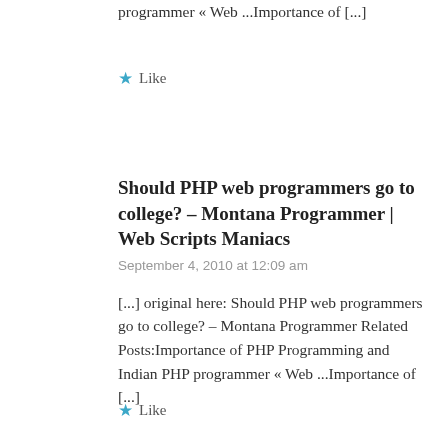programmer « Web ...Importance of [...]
Like
Should PHP web programmers go to college? – Montana Programmer | Web Scripts Maniacs
September 4, 2010 at 12:09 am
[...] original here: Should PHP web programmers go to college? – Montana Programmer Related Posts:Importance of PHP Programming and Indian PHP programmer « Web ...Importance of [...]
Like